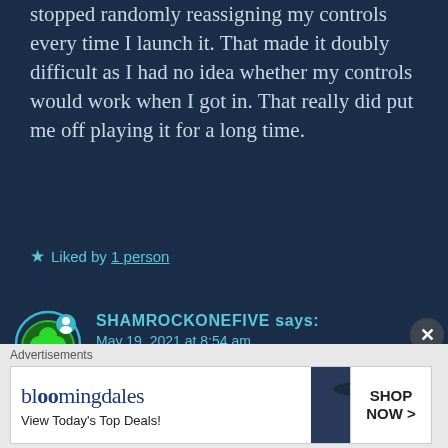stopped randomly reassigning my controls every time I launch it. That made it doubly difficult as I had no idea whether my controls would work when I got in. That really did put me off playing it for a long time.
★ Liked by 1 person
SHAMROCKONEFIVE says: May 19, 2021 at 8:54 am
For sure. That switch between...
Advertisements
[Figure (screenshot): Bloomingdale's advertisement banner: 'View Today's Top Deals!' with SHOP NOW > button and image of woman in wide-brim hat]